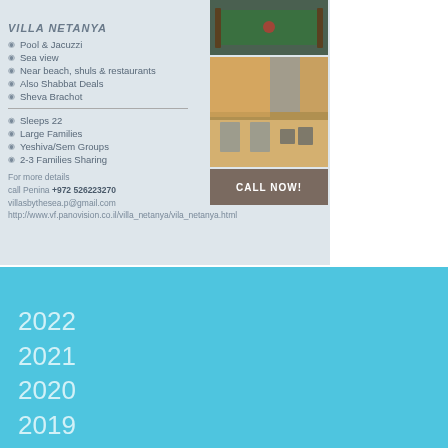[Figure (photo): Villa Netanya advertisement with pool table photo and rooftop terrace photo]
Pool & Jacuzzi
Sea view
Near beach, shuls & restaurants
Also Shabbat Deals
Sheva Brachot
Sleeps 22
Large Families
Yeshiva/Sem Groups
2-3 Families Sharing
For more details
call Penina +972 526223270
villasbythesea.p@gmail.com
http://www.vf.panovision.co.il/villa_netanya/vila_netanya.html
2022
2021
2020
2019
2018